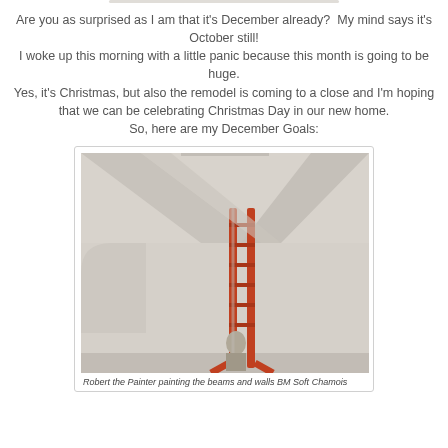Are you as surprised as I am that it's December already?  My mind says it's October still!
I woke up this morning with a little panic because this month is going to be huge.
Yes, it's Christmas, but also the remodel is coming to a close and I'm hoping that we can be celebrating Christmas Day in our new home.
So, here are my December Goals:
[Figure (photo): Interior room photo showing white/cream painted walls and ceiling beams with an orange ladder in the center and a painter working near the bottom. Arched windows visible on the left wall.]
Robert the Painter painting the beams and walls BM Soft Chamois